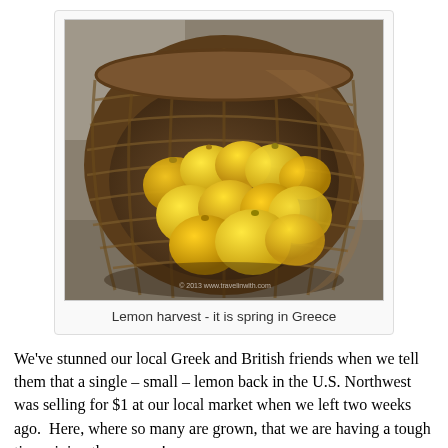[Figure (photo): A wicker basket filled with yellow lemons photographed from above, with a stone background visible. Watermark text visible in bottom right corner.]
Lemon harvest - it is spring in Greece
We've stunned our local Greek and British friends when we tell them that a single – small – lemon back in the U.S. Northwest was selling for $1 at our local market when we left two weeks ago.  Here, where so many are grown, that we are having a tough time giving them away!
I've appreciated the suggestions from many of you on ways to use the lemons. I've got a growing file of lemon-flavored dishes and desserts to try. One friend suggested preserving